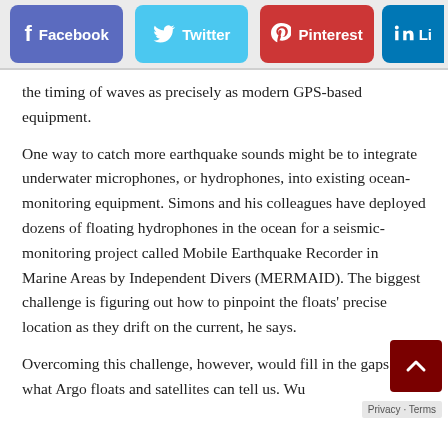[Figure (infographic): Social media sharing buttons: Facebook (blue-purple), Twitter (light blue), Pinterest (red), LinkedIn (blue, partially cut off)]
the timing of waves as precisely as modern GPS-based equipment.
One way to catch more earthquake sounds might be to integrate underwater microphones, or hydrophones, into existing ocean-monitoring equipment. Simons and his colleagues have deployed dozens of floating hydrophones in the ocean for a seismic-monitoring project called Mobile Earthquake Recorder in Marine Areas by Independent Divers (MERMAID). The biggest challenge is figuring out how to pinpoint the floats' precise location as they drift on the current, he says.
Overcoming this challenge, however, would fill in the gaps in what Argo floats and satellites can tell us. Wu